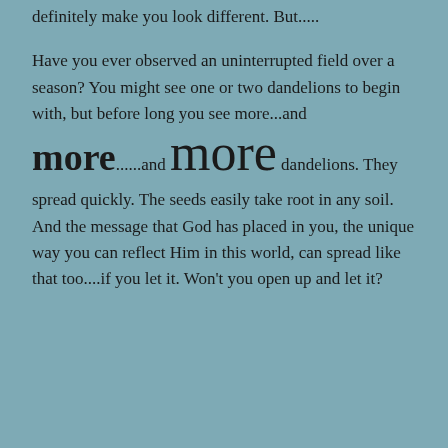definitely make you look different.  But.....
Have you ever observed an uninterrupted field over a season?  You might see one or two dandelions to begin with, but before long you see more...and MORE......and MORE dandelions.  They spread quickly.  The seeds easily take root in any soil.  And the message that God has placed in you, the unique way you can reflect Him in this world, can spread like that too....if you let it.  Won't you open up and let it?